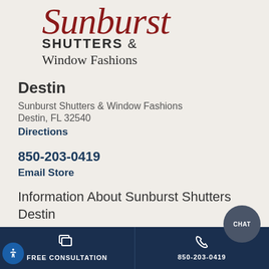[Figure (logo): Sunburst Shutters & Window Fashions logo with cursive red 'Sunburst' script above bold 'SHUTTERS &' and 'Window Fashions' text]
Destin
Sunburst Shutters & Window Fashions
Destin, FL 32540
Directions
850-203-0419
Email Store
Information About Sunburst Shutters Destin
FREE CONSULTATION | 850-203-0419